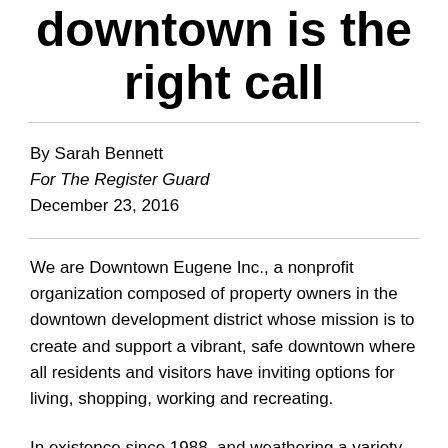downtown is the right call
By Sarah Bennett
For The Register Guard
December 23, 2016
We are Downtown Eugene Inc., a nonprofit organization composed of property owners in the downtown development district whose mission is to create and support a vibrant, safe downtown where all residents and visitors have inviting options for living, shopping, working and recreating.
In existence since 1988, and weathering a variety of